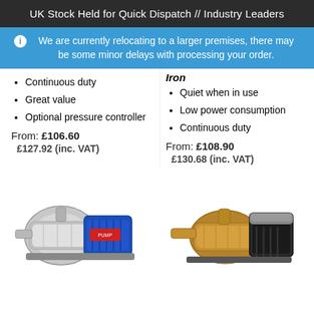UK Stock Held for Quick Dispatch // Industry Leaders
ℹ We are currently relocating to a larger premises, there may be some minor delays with processing your order.
Continuous duty
Great value
Optional pressure controller
From: £106.60
£127.92 (inc. VAT)
Iron
Quiet when in use
Low power consumption
Continuous duty
From: £108.90
£130.68 (inc. VAT)
[Figure (photo): Blue and silver electric water pump (jet pump) with stainless steel body]
[Figure (photo): Bronze/brass and black electric water pump with motor]